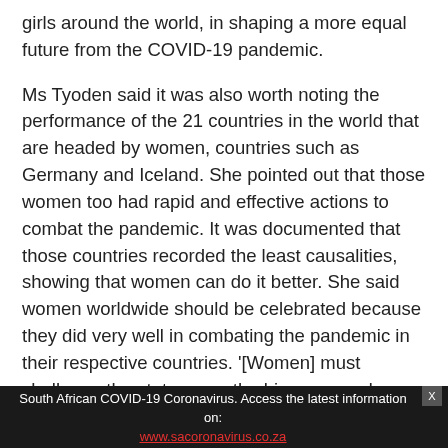girls around the world, in shaping a more equal future from the COVID-19 pandemic.
Ms Tyoden said it was also worth noting the performance of the 21 countries in the world that are headed by women, countries such as Germany and Iceland. She pointed out that those women too had rapid and effective actions to combat the pandemic. It was documented that those countries recorded the least causalities, showing that women can do it better. She said women worldwide should be celebrated because they did very well in combating the pandemic in their respective countries. '[Women] must challenge the status quo, the biasness and inequality', said Ms Tyoden.
South African COVID-19 Coronavirus. Access the latest information on: www.sacoronavirus.co.za